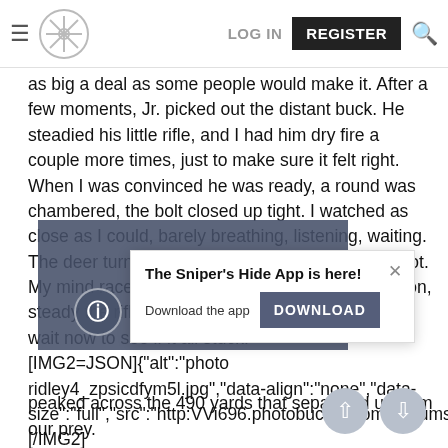Sniper's Hide forum navigation bar with hamburger menu, logo, LOG IN, REGISTER, and search icon
as big a deal as some people would make it. After a few moments, Jr. picked out the distant buck. He steadied his little rifle, and I had him dry fire a couple more times, just to make sure it felt right. When I was convinced he was ready, a round was chambered, the bolt closed up tight. I watched as close as I could, barely breathing, listening, waiting. The deer turned broadside, giving us a perfect shot. My mind raced over all the steps we had worked on, steady the rifle, breathe out, squeeze. I could only wait now to see if it all stuck. [IMG2=JSON]{"alt":"photo ridley4_zpsicdfym5l.jpg","data-align":"none","data-size":"full","src":"http:VVi696.photobucket.comValbums/vv323/coldboremiracleVridley4_zpsicdfym5l.jpg"}[/IMG2]
[Figure (screenshot): Popup notification: 'The Sniper's Hide App is here!' with Download button and close X. Behind it is a partial view of forum post content with a blue-grey overlay block and info circle icon.]
peaked across the 490 yards that separated us from our prey.